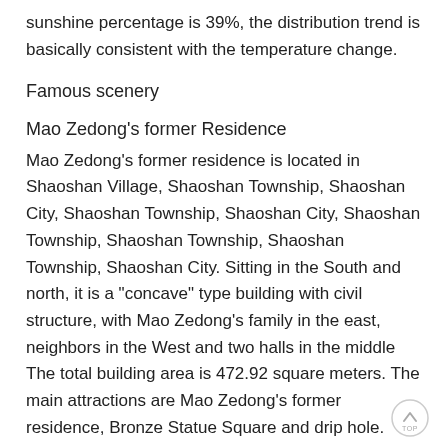sunshine percentage is 39%, the distribution trend is basically consistent with the temperature change.
Famous scenery
Mao Zedong's former Residence
Mao Zedong's former residence is located in Shaoshan Village, Shaoshan Township, Shaoshan City, Shaoshan Township, Shaoshan City, Shaoshan Township, Shaoshan Township, Shaoshan Township, Shaoshan City. Sitting in the South and north, it is a "concave" type building with civil structure, with Mao Zedong's family in the east, neighbors in the West and two halls in the middle The total building area is 472.92 square meters. The main attractions are Mao Zedong's former residence, Bronze Statue Square and drip hole.